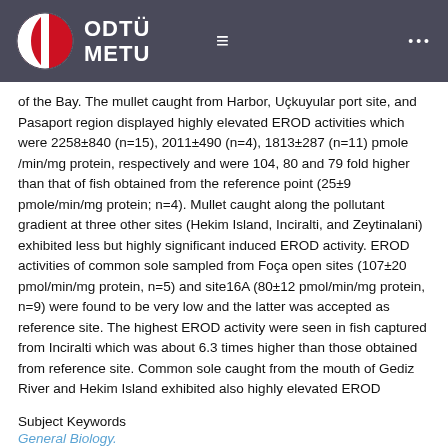ODTÜ METU
of the Bay. The mullet caught from Harbor, Uçkuyular port site, and Pasaport region displayed highly elevated EROD activities which were 2258±840 (n=15), 2011±490 (n=4), 1813±287 (n=11) pmole /min/mg protein, respectively and were 104, 80 and 79 fold higher than that of fish obtained from the reference point (25±9 pmole/min/mg protein; n=4). Mullet caught along the pollutant gradient at three other sites (Hekim Island, Inciralti, and Zeytinalani) exhibited less but highly significant induced EROD activity. EROD activities of common sole sampled from Foça open sites (107±20 pmol/min/mg protein, n=5) and site16A (80±12 pmol/min/mg protein, n=9) were found to be very low and the latter was accepted as reference site. The highest EROD activity were seen in fish captured from Inciralti which was about 6.3 times higher than those obtained from reference site. Common sole caught from the mouth of Gediz River and Hekim Island exhibited also highly elevated EROD
Subject Keywords
General Biology.